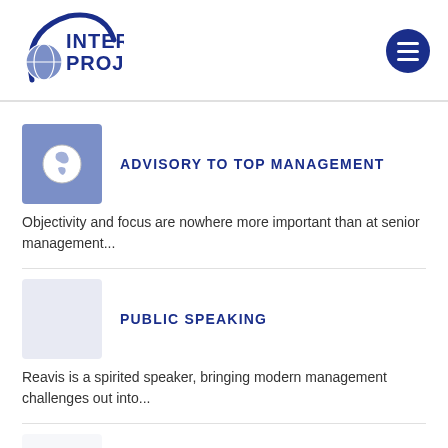[Figure (logo): Inter Projects logo with arc and globe icon, dark blue text]
[Figure (other): Hamburger menu button, dark blue circle with three white bars]
ADVISORY TO TOP MANAGEMENT
Objectivity and focus are nowhere more important than at senior management...
PUBLIC SPEAKING
Reavis is a spirited speaker, bringing modern management challenges out into...
PUBLICATIONS